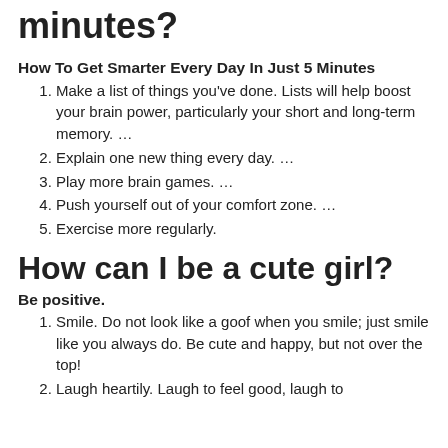minutes?
How To Get Smarter Every Day In Just 5 Minutes
Make a list of things you've done. Lists will help boost your brain power, particularly your short and long-term memory. …
Explain one new thing every day. …
Play more brain games. …
Push yourself out of your comfort zone. …
Exercise more regularly.
How can I be a cute girl?
Be positive.
Smile. Do not look like a goof when you smile; just smile like you always do. Be cute and happy, but not over the top!
Laugh heartily. Laugh to feel good, laugh to